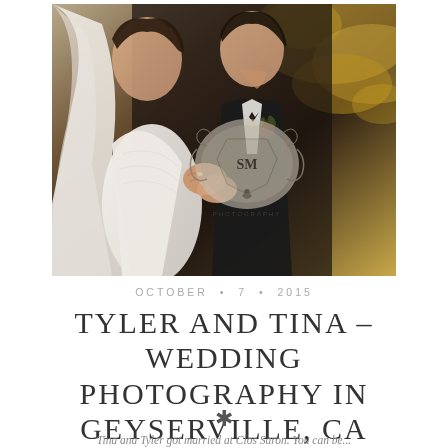[Figure (photo): Wedding couple photo: bride in white lace dress with veil, groom in black tuxedo with bow tie kissing bride's hands, autumn foliage background, SM Photography watermark logo visible]
OCTOBER • 7 • 2015
TYLER AND TINA – WEDDING PHOTOGRAPHY IN GEYSERVILLE, CA
*
Tina and Tyler got married at Clos Saron. You can be...